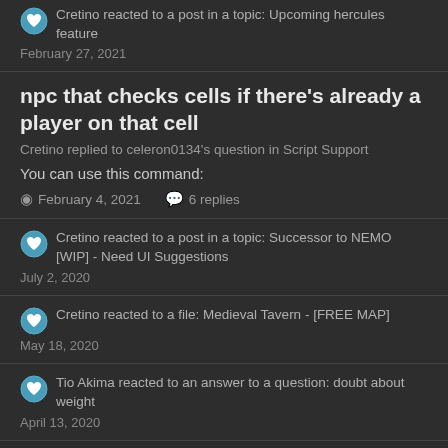Cretino reacted to a post in a topic: Upcoming hercules feature
February 27, 2021
npc that checks cells if there's already a player on that cell
Cretino replied to celeron0134's question in Script Support
You can use this command:
February 4, 2021  6 replies
Cretino reacted to a post in a topic: Successor to NEMO [WIP] - Need UI Suggestions
July 2, 2020
Cretino reacted to a file: Medieval Tavern - [FREE MAP]
May 18, 2020
Tio Akima reacted to an answer to a question: doubt about weight
April 13, 2020
doubt about weight